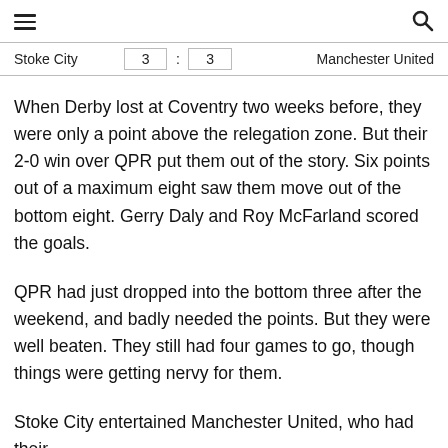menu | search
| Team | Score |  | Score | Team |
| --- | --- | --- | --- | --- |
| Stoke City | 3 | : | 3 | Manchester United |
When Derby lost at Coventry two weeks before, they were only a point above the relegation zone. But their 2-0 win over QPR put them out of the story. Six points out of a maximum eight saw them move out of the bottom eight. Gerry Daly and Roy McFarland scored the goals.
QPR had just dropped into the bottom three after the weekend, and badly needed the points. But they were well beaten. They still had four games to go, though things were getting nervy for them.
Stoke City entertained Manchester United, who had their